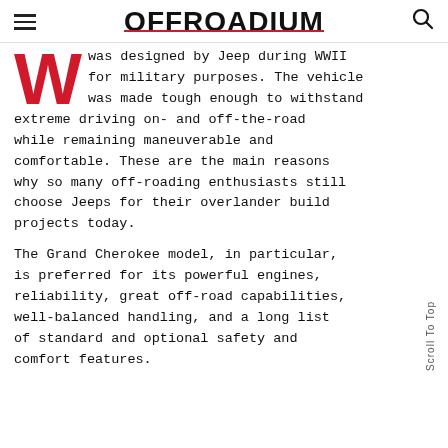OFFROADIUM
was designed by Jeep during WWII for military purposes. The vehicle was made tough enough to withstand extreme driving on- and off-the-road while remaining maneuverable and comfortable. These are the main reasons why so many off-roading enthusiasts still choose Jeeps for their overlander build projects today.
The Grand Cherokee model, in particular, is preferred for its powerful engines, reliability, great off-road capabilities, well-balanced handling, and a long list of standard and optional safety and comfort features.